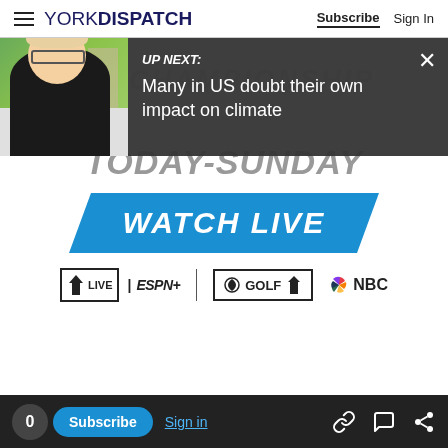YORK DISPATCH — Subscribe | Sign In
[Figure (screenshot): Up Next overlay panel with thumbnail photo of a woman outdoors and text: UP NEXT: Many in US doubt their own impact on climate, with close (X) button]
CHAMPIONSHIP (faded background text with circle logo)
TODAY-SUNDAY
WATCH LIVE
[Figure (logo): PGA TOUR LIVE | ESPN+ logo, Golf Channel logo, NBC logo row]
0 | Subscribe | Sign in | link icon | chat icon | share icon